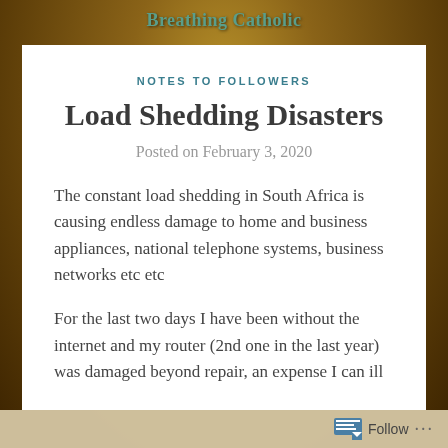Breathing Catholic
NOTES TO FOLLOWERS
Load Shedding Disasters
Posted on February 3, 2020
The constant load shedding in South Africa is causing endless damage to home and business appliances, national telephone systems, business networks etc etc
For the last two days I have been without the internet and my router (2nd one in the last year) was damaged beyond repair, an expense I can ill
Follow